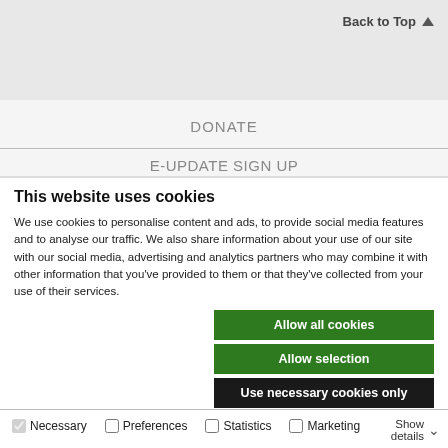Back to Top ↑
DONATE
E-UPDATE SIGN UP
This website uses cookies
We use cookies to personalise content and ads, to provide social media features and to analyse our traffic. We also share information about your use of our site with our social media, advertising and analytics partners who may combine it with other information that you've provided to them or that they've collected from your use of their services.
Allow all cookies
Allow selection
Use necessary cookies only
Necessary  Preferences  Statistics  Marketing  Show details